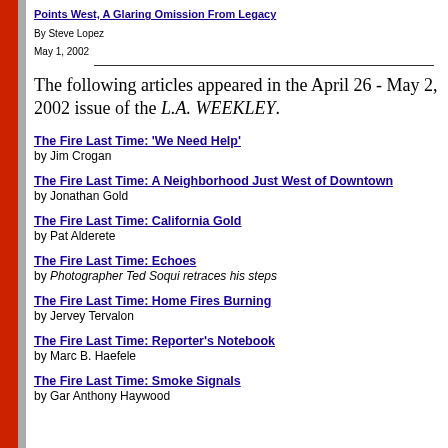Points West, A Glaring Omission From Legacy
By Steve Lopez
May 1, 2002
The following articles appeared in the April 26 - May 2, 2002 issue of the L.A. WEEKLEY.
The Fire Last Time: 'We Need Help'
by Jim Crogan
The Fire Last Time: A Neighborhood Just West of Downtown
by Jonathan Gold
The Fire Last Time: California Gold
by Pat Alderete
The Fire Last Time: Echoes
by Photographer Ted Soqui retraces his steps
The Fire Last Time: Home Fires Burning
by Jervey Tervalon
The Fire Last Time: Reporter's Notebook
by Marc B. Haefele
The Fire Last Time: Smoke Signals
by Gar Anthony Haywood